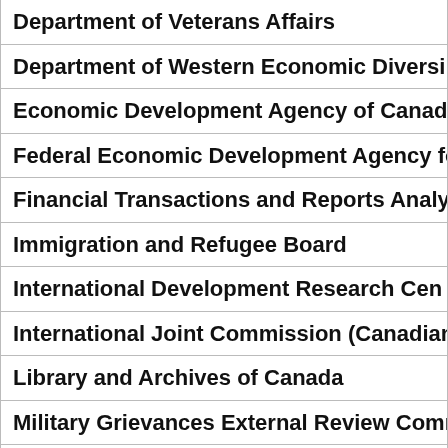| Department of Veterans Affairs |
| Department of Western Economic Diversi… |
| Economic Development Agency of Canada… |
| Federal Economic Development Agency fo… |
| Financial Transactions and Reports Analys… |
| Immigration and Refugee Board |
| International Development Research Cen… |
| International Joint Commission (Canadian… |
| Library and Archives of Canada |
| Military Grievances External Review Comm… |
| Military Police Complaints Commission |
| National Arts Centre Corporation |